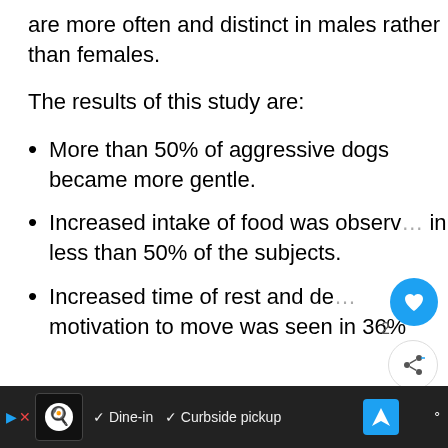are more often and distinct in males rather than females.
The results of this study are:
More than 50% of aggressive dogs became more gentle.
Increased intake of food was observed in less than 50% of the subjects.
Increased time of rest and decreased motivation to move was seen in 36%